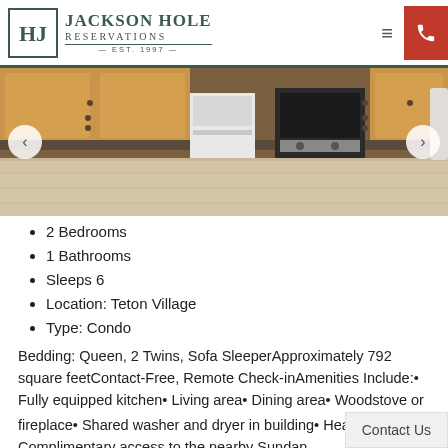Jackson Hole Reservations EST. 1997
[Figure (photo): Kitchen interior with wooden cabinets, white dishwasher, black stainless range, and light hardwood flooring]
2 Bedrooms
1 Bathrooms
Sleeps 6
Location: Teton Village
Type: Condo
Bedding: Queen, 2 Twins, Sofa SleeperApproximately 792 square feetContact-Free, Remote Check-inAmenities Include:• Fully equipped kitchen• Living area• Dining area• Woodstove or fireplace• Shared washer and dryer in building• Heated bathroom• Complimentary access to the nearby Sundan